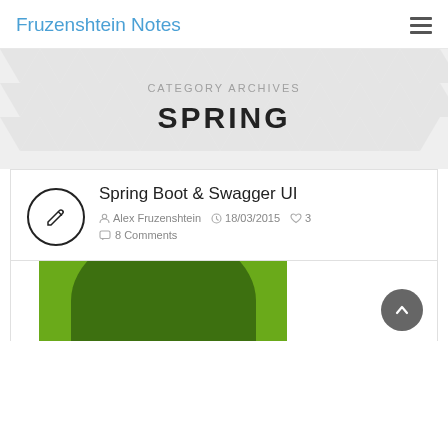Fruzenshtein Notes
CATEGORY ARCHIVES
SPRING
Spring Boot & Swagger UI
Alex Fruzenshtein   18/03/2015   ♡ 3
8 Comments
[Figure (photo): Green background with a dark green semicircle, partial view of a post thumbnail image]